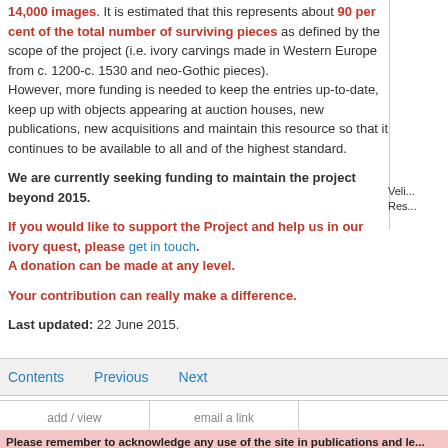14,000 images. It is estimated that this represents about 90 per cent of the total number of surviving pieces as defined by the scope of the project (i.e. ivory carvings made in Western Europe from c. 1200-c. 1530 and neo-Gothic pieces). However, more funding is needed to keep the entries up-to-date, keep up with objects appearing at auction houses, new publications, new acquisitions and maintain this resource so that it continues to be available to all and of the highest standard.
We are currently seeking funding to maintain the project beyond 2015.
If you would like to support the Project and help us in our ivory quest, please get in touch. A donation can be made at any level.
Your contribution can really make a difference.
Last updated: 22 June 2015.
Veli... Res...
Contents   Previous   Next
add / view comments
email a link to this story
Please remember to acknowledge any use of the site in publications and le... Institute of Art, London, www.gothicivories.courtauld.ac.uk', followed by th...